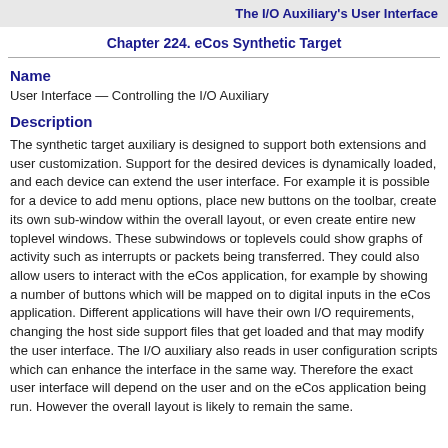The I/O Auxiliary's User Interface
Chapter 224. eCos Synthetic Target
Name
User Interface — Controlling the I/O Auxiliary
Description
The synthetic target auxiliary is designed to support both extensions and user customization. Support for the desired devices is dynamically loaded, and each device can extend the user interface. For example it is possible for a device to add menu options, place new buttons on the toolbar, create its own sub-window within the overall layout, or even create entire new toplevel windows. These subwindows or toplevels could show graphs of activity such as interrupts or packets being transferred. They could also allow users to interact with the eCos application, for example by showing a number of buttons which will be mapped on to digital inputs in the eCos application. Different applications will have their own I/O requirements, changing the host side support files that get loaded and that may modify the user interface. The I/O auxiliary also reads in user configuration scripts which can enhance the interface in the same way. Therefore the exact user interface will depend on the user and on the eCos application being run. However the overall layout is likely to remain the same.